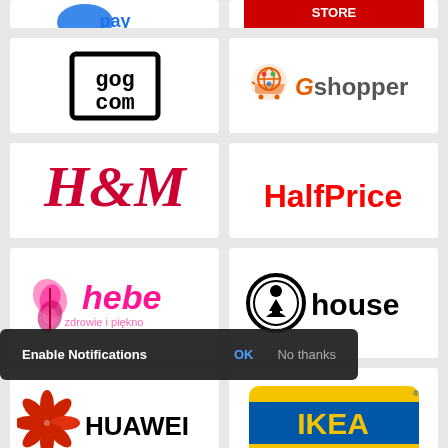[Figure (logo): Partial logo cards at top (cropped) - two logos partially visible]
[Figure (logo): GOG.com logo - black square border with 'gog com' text inside]
[Figure (logo): Gshopper logo - orange shopping cart icon with colorful globe and 'Gshopper' text in gray]
[Figure (logo): H&M logo - stylized red cursive H&M text]
[Figure (logo): HalfPrice logo - bold red text 'HalfPrice']
[Figure (logo): hebe logo - pink 'hebe' text with butterfly icon, subtitle 'zdrowie i piekno']
[Figure (logo): house logo - circular icon with figure and 'house' bold text]
[Figure (logo): HUAWEI logo - red flower/petal icon with bold 'HUAWEI' text]
[Figure (logo): IKEA logo - blue and yellow oval with 'IKEA' text]
[Figure (logo): Partial logos at bottom (cropped)]
Enable Notifications   OK   No thanks